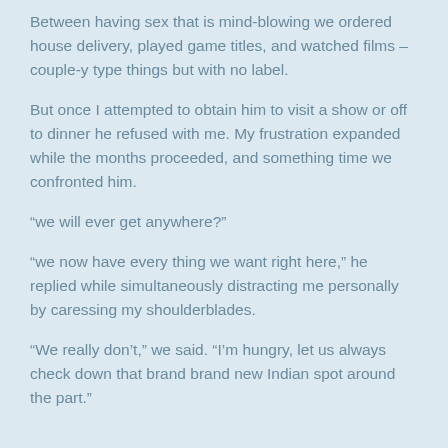Between having sex that is mind-blowing we ordered house delivery, played game titles, and watched films – couple-y type things but with no label.
But once I attempted to obtain him to visit a show or off to dinner he refused with me. My frustration expanded while the months proceeded, and something time we confronted him.
“we will ever get anywhere?”
“we now have every thing we want right here,” he replied while simultaneously distracting me personally by caressing my shoulderblades.
“We really don’t,” we said. “I’m hungry, let us always check down that brand brand new Indian spot around the part.”